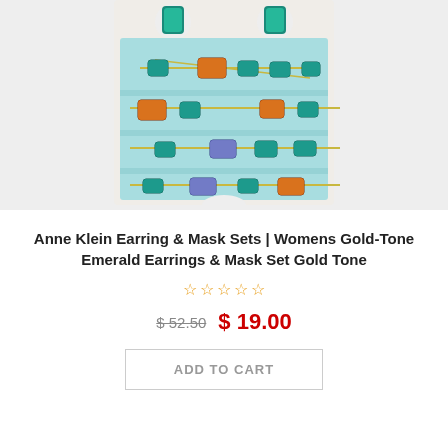[Figure (photo): Product photo of Anne Klein earring and mask set on a light blue jewelry display card with colorful gemstone necklace graphic. Earrings are teal/green rectangular gemstones. The mask is folded light blue fabric with a jeweled necklace print in teal, orange, and purple stones.]
Anne Klein Earring & Mask Sets | Womens Gold-Tone Emerald Earrings & Mask Set Gold Tone
☆ ☆ ☆ ☆ ☆
$ 52.50  $ 19.00
ADD TO CART